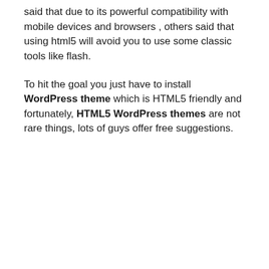said that due to its powerful compatibility with mobile devices and browsers , others said that using html5 will avoid you to use some classic tools like flash.
To hit the goal you just have to install WordPress theme which is HTML5 friendly and fortunately, HTML5 WordPress themes are not rare things, lots of guys offer free suggestions.